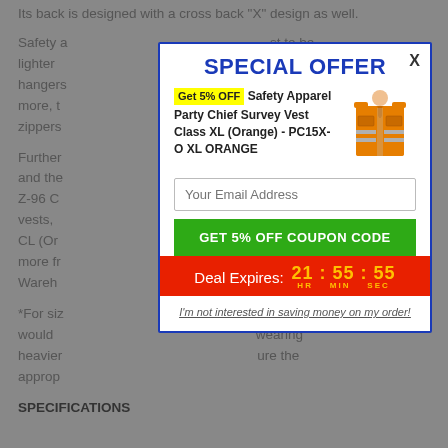Its back is designed with a cross back "X" design as well.
Safety a... st to be lighter ...oockets, hangers ...s. Even more, t ...t Vision zippers
Further ...Canada, and the ...07/CSA Z-96 C ...safety vests, ...st Class CL (Or ...cts and more fr ...ngineer Wareh
*For siz ...rt worn would ...wearing heavier ...ure the approp
SPECIAL OFFER
X
Get 5% OFF Safety Apparel Party Chief Survey Vest Class XL (Orange) - PC15X-O XL ORANGE
[Figure (illustration): Orange safety vest product image]
Your Email Address
GET 5% OFF COUPON CODE
Deal Expires: 21 : 55 : 55 HR MIN SEC
I'm not interested in saving money on my order!
SPECIFICATIONS